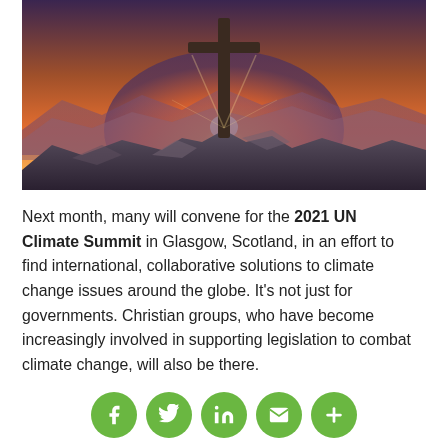[Figure (photo): A Christian cross silhouetted against a sunrise over rocky mountain terrain, dramatic orange and golden sky in the background.]
Next month, many will convene for the 2021 UN Climate Summit in Glasgow, Scotland, in an effort to find international, collaborative solutions to climate change issues around the globe. It’s not just for governments. Christian groups, who have become increasingly involved in supporting legislation to combat climate change, will also be there.
[Figure (infographic): Social sharing buttons row: Facebook, Twitter, LinkedIn, Email, More (plus sign). All circular green buttons with white icons.]